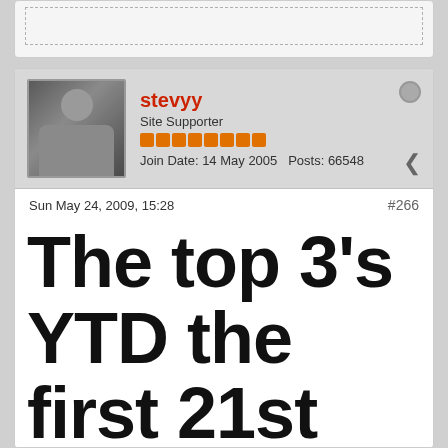stevyy
Site Supporter
Join Date: 14 May 2005   Posts: 66548
Sun May 24, 2009, 15:28
#266
The top 3's YTD the first 21st weeks of 2009: